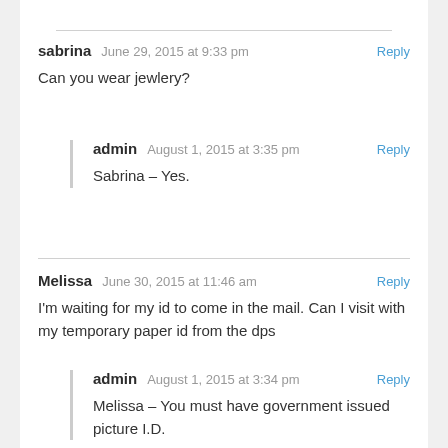sabrina   June 29, 2015 at 9:33 pm   Reply
Can you wear jewlery?
admin   August 1, 2015 at 3:35 pm   Reply
Sabrina – Yes.
Melissa   June 30, 2015 at 11:46 am   Reply
I'm waiting for my id to come in the mail. Can I visit with my temporary paper id from the dps
admin   August 1, 2015 at 3:34 pm   Reply
Melissa – You must have government issued picture I.D.